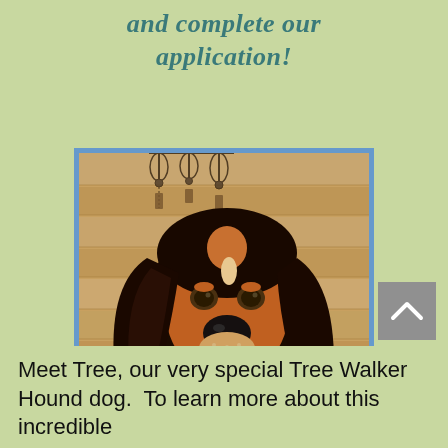and complete our application!
[Figure (photo): Painting/illustration of a Treeing Walker Hound dog with dark brown and tan coloring, long droopy ears, sitting against a wooden plank wall background with decorative wind chimes visible at top, seated on a red patterned chair.]
Meet Tree, our very special Tree Walker Hound dog.  To learn more about this incredible